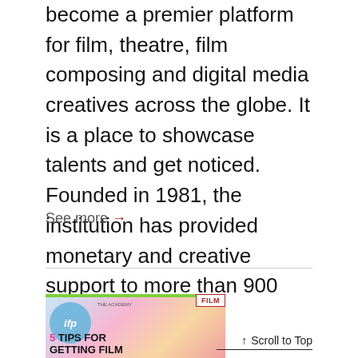become a premier platform for film, theatre, film composing and digital media creatives across the globe. It is a place to showcase talents and get noticed. Founded in 1981, the institution has provided monetary and creative support to more than 900 artists a year.
See more →
[Figure (photo): Thumbnail image for article about '5 TIPS FOR GETTING FILM' with IFP logo, The Academy text, colorful background, green top bar, and a red-bordered FILM badge in the top right corner.]